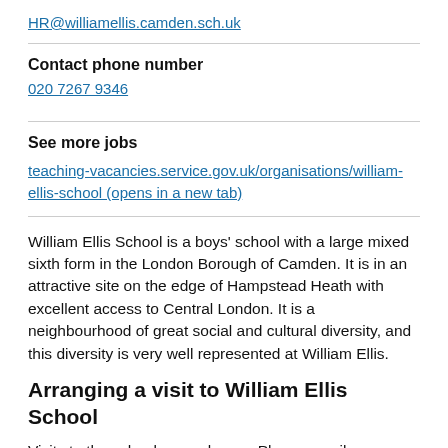HR@williamellis.camden.sch.uk
Contact phone number
020 7267 9346
See more jobs
teaching-vacancies.service.gov.uk/organisations/william-ellis-school (opens in a new tab)
William Ellis School is a boys' school with a large mixed sixth form in the London Borough of Camden. It is in an attractive site on the edge of Hampstead Heath with excellent access to Central London. It is a neighbourhood of great social and cultural diversity, and this diversity is very well represented at William Ellis.
Arranging a visit to William Ellis School
Visits to the school are welcome. Please email HR@williamellis.camden.sch.uk